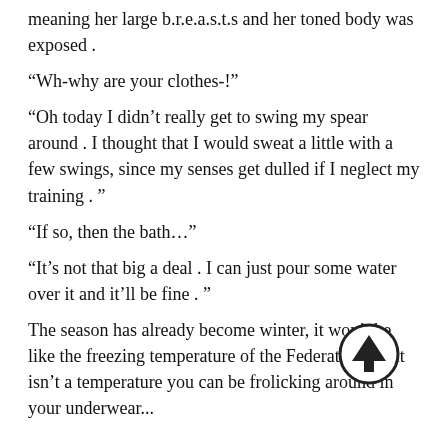meaning her large b.r.e.a.s.t.s and her toned body was exposed .
“Wh-why are your clothes-!”
“Oh today I didn’t really get to swing my spear around . I thought that I would sweat a little with a few swings, since my senses get dulled if I neglect my training . ”
“If so, then the bath…”
“It’s not that big a deal . I can just pour some water over it and it’ll be fine . ”
The season has already become winter, it won’t be like the freezing temperature of the Federation but it isn’t a temperature you can be frolicking around in your underwear...